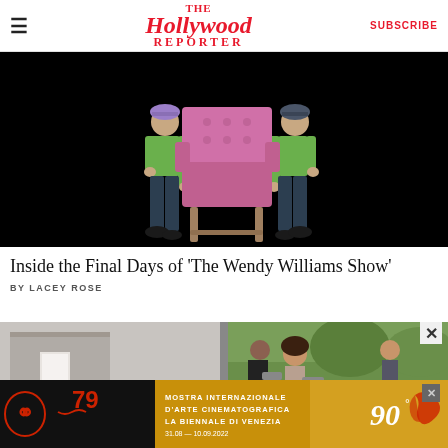The Hollywood Reporter | SUBSCRIBE
[Figure (photo): Two men in green shirts and dark pants carrying a pink tufted armchair against a black background, walking in opposite directions]
Inside the Final Days of ‘The Wendy Williams Show’
BY LACEY ROSE
[Figure (photo): Partial image of two women, one at a doorway, partial outdoor scene]
[Figure (other): Advertisement: Mostra Internazionale D'Arte Cinematografica La Biennale di Venezia 31.08 - 10.09.2022, 79th edition, 90th anniversary]